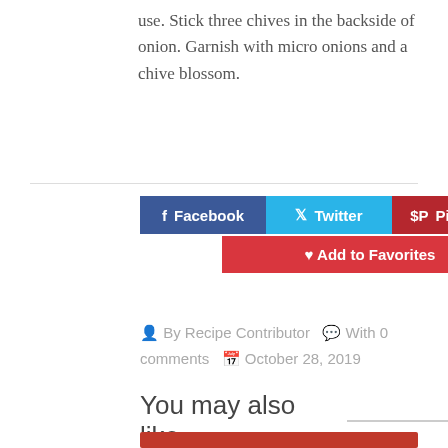use. Stick three chives in the backside of onion. Garnish with micro onions and a chive blossom.
[Figure (infographic): Social sharing buttons: Facebook (dark blue), Twitter (light blue), Pinterest (dark red), and Add to Favorites (red) buttons arranged in two rows.]
By Recipe Contributor  With 0 comments  October 28, 2019
You may also like
[Figure (photo): Partial thumbnail image at bottom of page, appears to show food photography in red tones.]